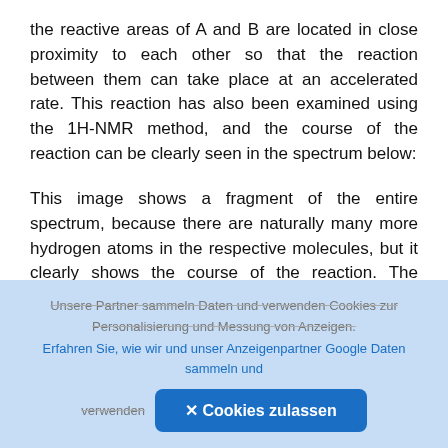the reactive areas of A and B are located in close proximity to each other so that the reaction between them can take place at an accelerated rate. This reaction has also been examined using the 1H-NMR method, and the course of the reaction can be clearly seen in the spectrum below:
This image shows a fragment of the entire spectrum, because there are naturally many more hydrogen atoms in the respective molecules, but it clearly shows the course of the reaction. The signals for product C are shown on the left and the signals of molecule A on the right. At the beginning, only very little C forms – but the reaction then really
[Figure (other): Upload/share button overlay icon (circle with up arrow) on dark background]
Unsere Partner sammeln Daten und verwenden Cookies zur Personalisierung und Messung von Anzeigen. Erfahren Sie, wie wir und unser Anzeigenpartner Google Daten sammeln und verwenden
✕ Cookies zulassen